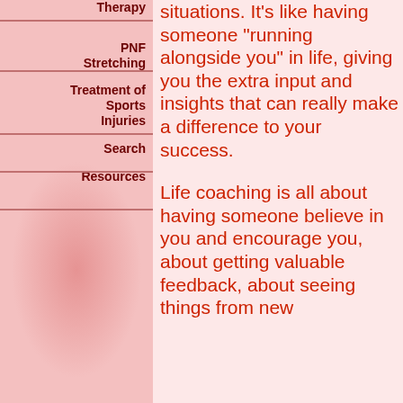[Figure (photo): Faded pink background with a silhouette or blurred photo of a person, used as decorative background for the left navigation column.]
Therapy
PNF Stretching
Treatment of Sports Injuries
Search
Resources
situations. It's like having someone "running alongside you" in life, giving you the extra input and insights that can really make a difference to your success.
Life coaching is all about having someone believe in you and encourage you, about getting valuable feedback, about seeing things from new